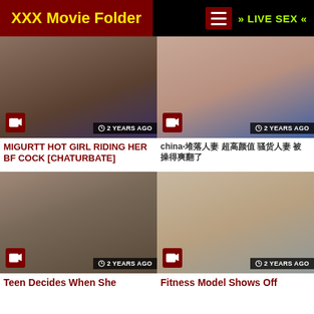XXX Movie Folder | » LIVE SEX «
[Figure (photo): Thumbnail of adult video - MIGURTT HOT GIRL RIDING HER BF COCK [CHATURBATE], labeled 2 YEARS AGO]
[Figure (photo): Thumbnail of adult video - china- with Chinese characters, labeled 2 YEARS AGO]
MIGURTT HOT GIRL RIDING HER BF COCK [CHATURBATE]
china-堕落人妻 超高颜值 骚货人妻 被 操得爽翻了
[Figure (photo): Thumbnail of adult video - Teen Decides When She, labeled 2 YEARS AGO]
[Figure (photo): Thumbnail of adult video - Fitness Model Shows Off, labeled 2 YEARS AGO]
Teen Decides When She
Fitness Model Shows Off